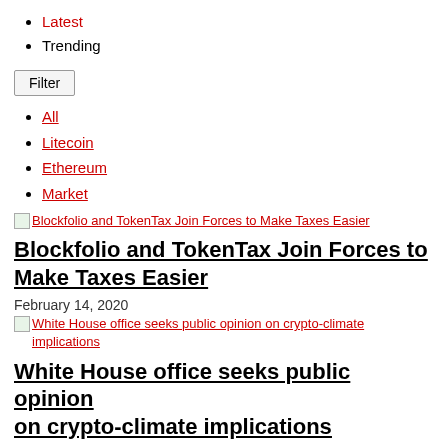Latest
Trending
Filter
All
Litecoin
Ethereum
Market
[Figure (photo): Blockfolio and TokenTax Join Forces to Make Taxes Easier - article image link]
Blockfolio and TokenTax Join Forces to Make Taxes Easier
February 14, 2020
[Figure (photo): White House office seeks public opinion on crypto-climate implications - article image link]
White House office seeks public opinion on crypto-climate implications